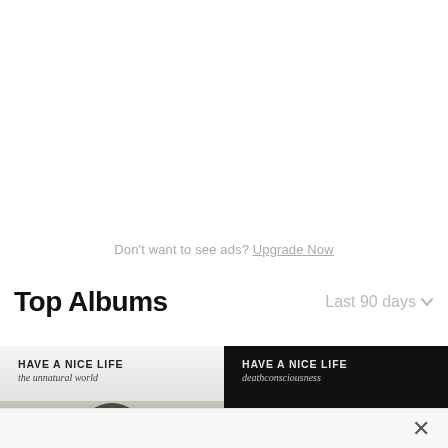Don't want to see ads? Upgrade Now
Top Albums
Last 90 days
[Figure (photo): Album art for Have a Nice Life - The Unnatural World: light gray gradient background with a dark archway/stone image at bottom. Text: HAVE A NICE LIFE / the unnatural world]
[Figure (photo): Album art for Have a Nice Life - Deathconsciousness: black background with dark landscape at bottom. Text: HAVE A NICE LIFE / deathconsciousness]
×